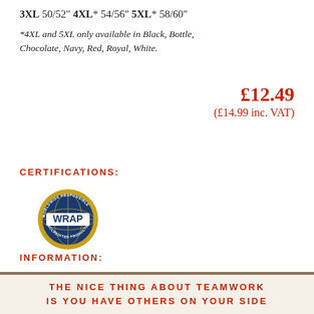3XL 50/52" 4XL* 54/56" 5XL* 58/60"
*4XL and 5XL only available in Black, Bottle, Chocolate, Navy, Red, Royal, White.
£12.49 (£14.99 inc. VAT)
CERTIFICATIONS:
[Figure (logo): WRAP (Worldwide Responsible Accredited Production) certification logo — globe with WRAP text]
INFORMATION:
Ordering Options
THE NICE THING ABOUT TEAMWORK IS YOU HAVE OTHERS ON YOUR SIDE